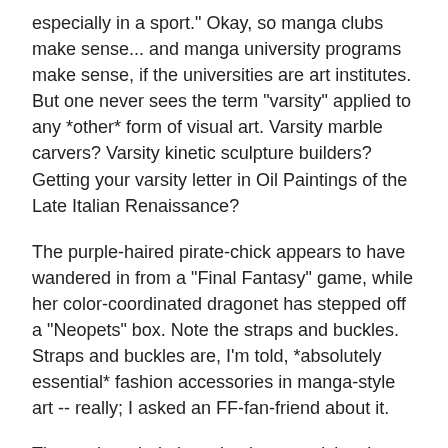especially in a sport." Okay, so manga clubs make sense... and manga university programs make sense, if the universities are art institutes. But one never sees the term "varsity" applied to any *other* form of visual art. Varsity marble carvers? Varsity kinetic sculpture builders? Getting your varsity letter in Oil Paintings of the Late Italian Renaissance?
The purple-haired pirate-chick appears to have wandered in from a "Final Fantasy" game, while her color-coordinated dragonet has stepped off a "Neopets" box. Note the straps and buckles. Straps and buckles are, I'm told, *absolutely essential* fashion accessories in manga-style art -- really; I asked an FF-fan-friend about it.
The anchor-chain is arcing in a suspiciously unlikely manner, and the knotted sailcloth wrapped around her arms is surely going to cause a horrible accident -- assuming she's not first blinded by her dramatically wind-swept hair at some inopportune moment. (There's a